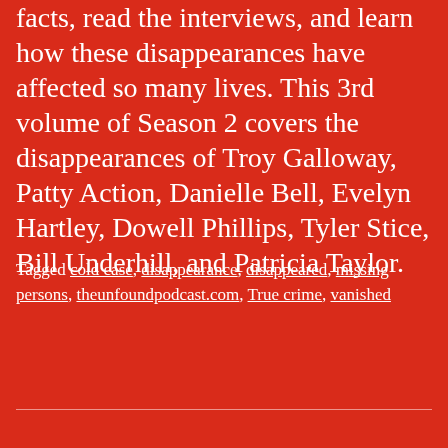facts, read the interviews, and learn how these disappearances have affected so many lives. This 3rd volume of Season 2 covers the disappearances of Troy Galloway, Patty Action, Danielle Bell, Evelyn Hartley, Dowell Phillips, Tyler Stice, Bill Underhill, and Patricia Taylor.
Tagged cold case, disappearance, disappeared, missing persons, theunfoundpodcast.com, True crime, vanished